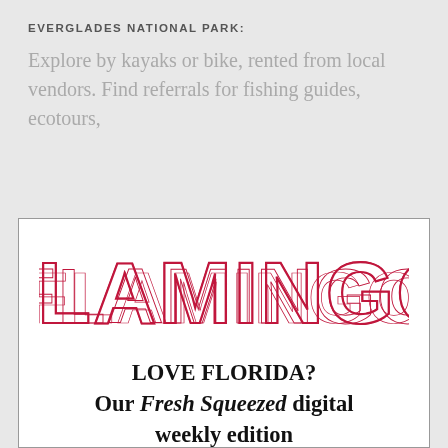EVERGLADES NATIONAL PARK:
Explore by kayaks or bike, rented from local vendors. Find referrals for fishing guides, ecotours,
[Figure (illustration): Advertisement box for Flamingo magazine with decorative border. Contains the 'FLAMINGO' logo in red striped lettering and promotional text: LOVE FLORIDA? Our Fresh Squeezed digital weekly edition delivers the best of the Sunshine State direct to your inbox]
FLAMINGO
LOVE FLORIDA? Our Fresh Squeezed digital weekly edition delivers the best of the Sunshine State direct to your inbox